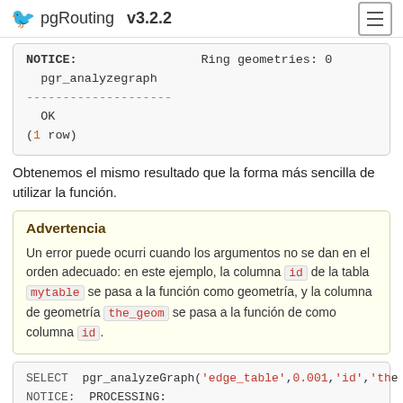pgRouting v3.2.2
NOTICE:                 Ring geometries: 0
  pgr_analyzegraph
--------------------
  OK
(1 row)
Obtenemos el mismo resultado que la forma más sencilla de utilizar la función.
Advertencia

Un error puede ocurri cuando los argumentos no se dan en el orden adecuado: en este ejemplo, la columna id de la tabla mytable se pasa a la función como geometría, y la columna de geometría the_geom se pasa a la función de como columna id.
SELECT  pgr_analyzeGraph('edge_table',0.001,'id','the
NOTICE:  PROCESSING: